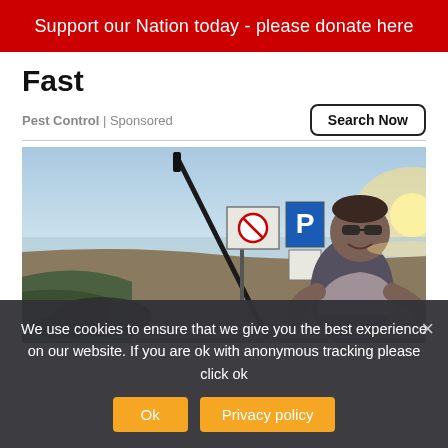Support our Nation today - please donate here
Fast
Pest Control | Sponsored
Search Now
[Figure (photo): A man standing outdoors near a beach with signs including a parking sign, holding what appears to be a long pole or air rifle, with sea and sky visible in background.]
We use cookies to ensure that we give you the best experience on our website. If you are ok with anonymous tracking please click ok
Ok
Privacy policy